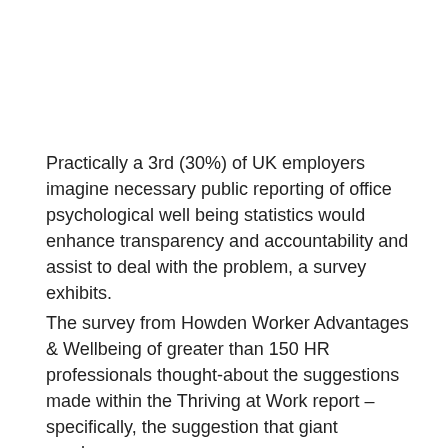Practically a 3rd (30%) of UK employers imagine necessary public reporting of office psychological well being statistics would enhance transparency and accountability and assist to deal with the problem, a survey exhibits.
The survey from Howden Worker Advantages & Wellbeing of greater than 150 HR professionals thought-about the suggestions made within the Thriving at Work report – specifically, the suggestion that giant employers